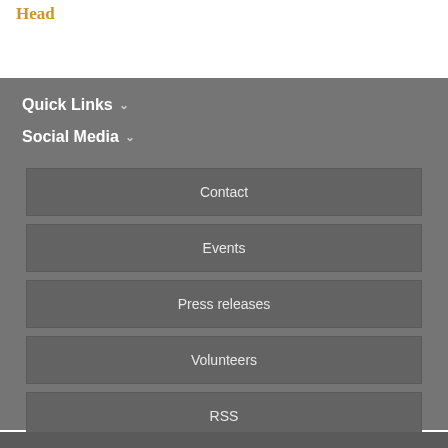Head
Quick Links ˅
Social Media ˅
Contact
Events
Press releases
Volunteers
RSS